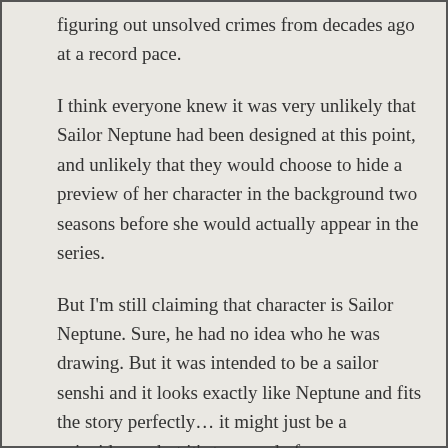figuring out unsolved crimes from decades ago at a record pace.
I think everyone knew it was very unlikely that Sailor Neptune had been designed at this point, and unlikely that they would choose to hide a preview of her character in the background two seasons before she would actually appear in the series.
But I'm still claiming that character is Sailor Neptune. Sure, he had no idea who he was drawing. But it was intended to be a sailor senshi and it looks exactly like Neptune and fits the story perfectly… it might just be a coincidence, but it's too good of a